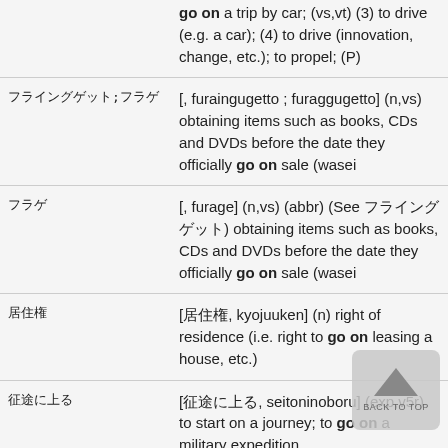| Term | Definition |
| --- | --- |
|  | go on a trip by car; (vs,vt) (3) to drive (e.g. a car); (4) to drive (innovation, change, etc.); to propel; (P) |
| フライングゲット;フラゲ | [, furaingugetto ; furaggugetto] (n,vs) obtaining items such as books, CDs and DVDs before the date they officially go on sale (wasei |
| フラゲ | [, furage] (n,vs) (abbr) (See フライングゲット) obtaining items such as books, CDs and DVDs before the date they officially go on sale (wasei |
| 居住権 | [居住権, kyojuuken] (n) right of residence (i.e. right to go on leasing a house, etc.) |
| 征途に上る | [征途に上る, seitoninoboru] (exp,v5r) to start on a journey; to go on a military expedition |